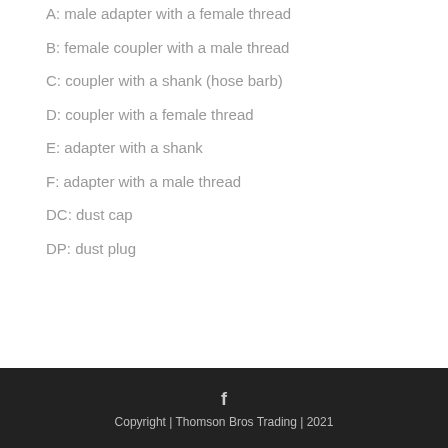A: male adapter with a female thread
B: female coupler with a male thread
C: coupler with a shank (hose barb)
D: coupler with a female thread
E: adapter with a shank
F: adapter with a male thread
DC: dust cap
DP: dust plug
Copyright | Thomson Bros Trading | 2021